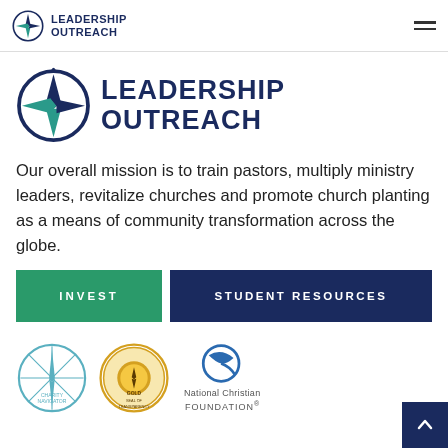Leadership Outreach — navigation bar
[Figure (logo): Leadership Outreach large logo with compass star icon and text LEADERSHIP OUTREACH in dark navy blue]
Our overall mission is to train pastors, multiply ministry leaders, revitalize churches and promote church planting as a means of community transformation across the globe.
[Figure (other): Two call-to-action buttons: INVEST (green) and STUDENT RESOURCES (navy blue)]
[Figure (logo): Three partner/accreditation logos: Charity Navigator compass logo, Seal of Transparency Gold badge, National Christian Foundation logo]